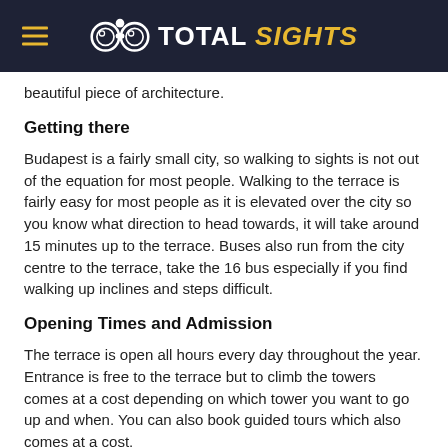TOTAL SIGHTS
beautiful piece of architecture.
Getting there
Budapest is a fairly small city, so walking to sights is not out of the equation for most people. Walking to the terrace is fairly easy for most people as it is elevated over the city so you know what direction to head towards, it will take around 15 minutes up to the terrace. Buses also run from the city centre to the terrace, take the 16 bus especially if you find walking up inclines and steps difficult.
Opening Times and Admission
The terrace is open all hours every day throughout the year. Entrance is free to the terrace but to climb the towers comes at a cost depending on which tower you want to go up and when. You can also book guided tours which also comes at a cost.